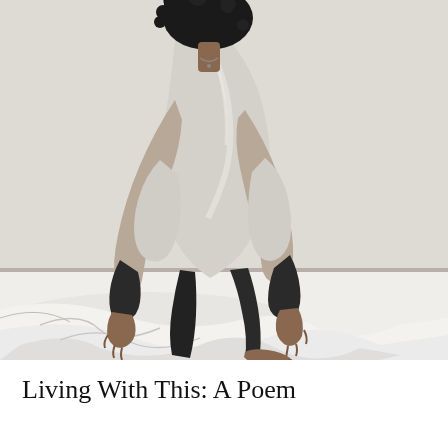[Figure (photo): Black and white photograph of a person with curly hair bending forward, wearing a satin blouse and dark leggings, reaching down with both hands toward white draped fabric on the floor. The person is barefoot. The background is a plain light-colored wall.]
Living With This: A Poem